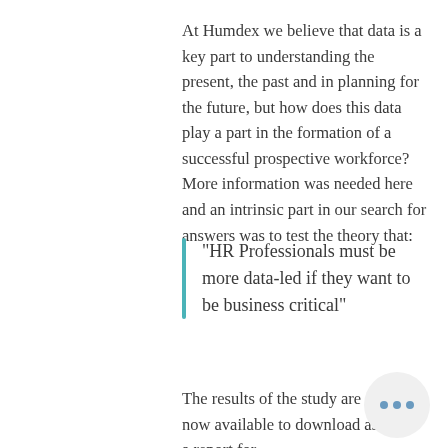At Humdex we believe that data is a key part to understanding the present, the past and in planning for the future, but how does this data play a part in the formation of a successful prospective workforce? More information was needed here and an intrinsic part in our search for answers was to test the theory that:
"HR Professionals must be more data-led if they want to be business critical"
The results of the study are now available to download as a report for